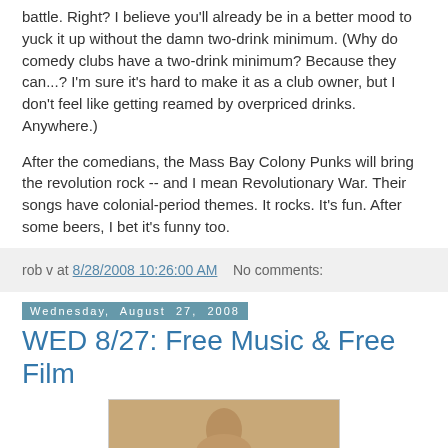battle. Right? I believe you'll already be in a better mood to yuck it up without the damn two-drink minimum. (Why do comedy clubs have a two-drink minimum? Because they can...? I'm sure it's hard to make it as a club owner, but I don't feel like getting reamed by overpriced drinks. Anywhere.)
After the comedians, the Mass Bay Colony Punks will bring the revolution rock -- and I mean Revolutionary War. Their songs have colonial-period themes. It rocks. It's fun. After some beers, I bet it's funny too.
rob v at 8/28/2008 10:26:00 AM   No comments:
Wednesday, August 27, 2008
WED 8/27: Free Music & Free Film
[Figure (photo): Close-up photo of a person's face, showing nose and lower face area]